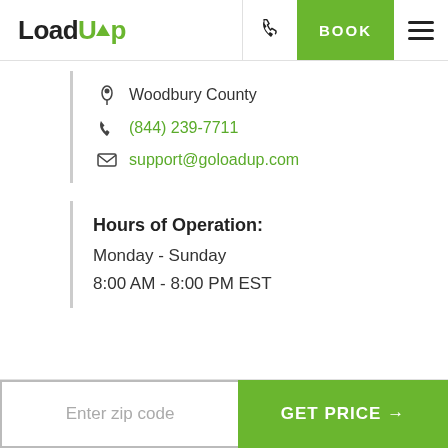LoadUp — BOOK
Woodbury County
(844) 239-7711
support@goloadup.com
Hours of Operation:
Monday - Sunday
8:00 AM - 8:00 PM EST
Enter zip code
GET PRICE →